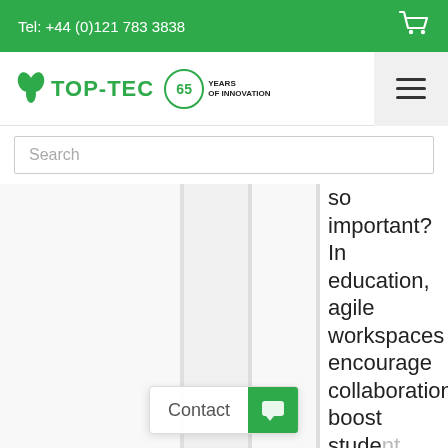Tel: +44 (0)121 783 3838
[Figure (logo): TOP-TEC logo with green leaf icons and 65 Years of Innovation badge]
Search
so important? In education, agile workspaces encourage collaboration, boost student engagement, [...]
Contact